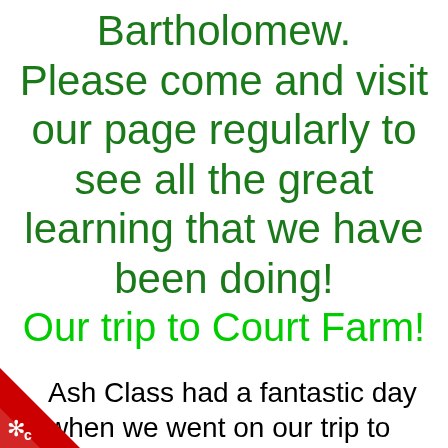Bartholomew. Please come and visit our page regularly to see all the great learning that we have been doing!
Our trip to Court Farm!
Ash Class had a fantastic day when we went on our trip to Court Farm.